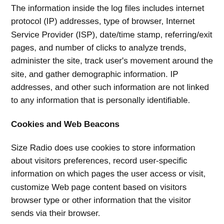The information inside the log files includes internet protocol (IP) addresses, type of browser, Internet Service Provider (ISP), date/time stamp, referring/exit pages, and number of clicks to analyze trends, administer the site, track user's movement around the site, and gather demographic information. IP addresses, and other such information are not linked to any information that is personally identifiable.
Cookies and Web Beacons
Size Radio does use cookies to store information about visitors preferences, record user-specific information on which pages the user access or visit, customize Web page content based on visitors browser type or other information that the visitor sends via their browser.
DoubleClick DART Cookie
Google, as a third party vendor, uses cookies to serve